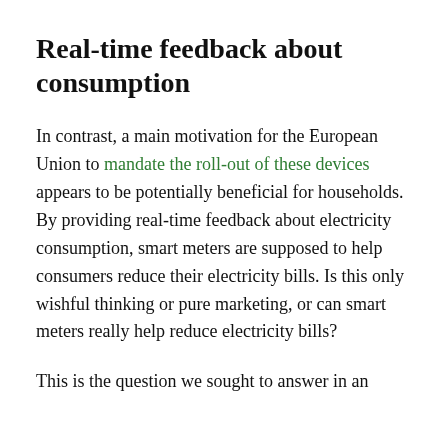Real-time feedback about consumption
In contrast, a main motivation for the European Union to mandate the roll-out of these devices appears to be potentially beneficial for households. By providing real-time feedback about electricity consumption, smart meters are supposed to help consumers reduce their electricity bills. Is this only wishful thinking or pure marketing, or can smart meters really help reduce electricity bills?
This is the question we sought to answer in an